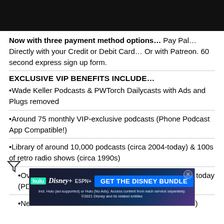[Figure (other): Black header bar image]
Now with three payment method options... Pay Pal... Directly with your Credit or Debit Card... Or with Patreon. 60 second express sign up form.
EXCLUSIVE VIP BENEFITS INCLUDE...
•Wade Keller Podcasts & PWTorch Dailycasts with Ads and Plugs removed
•Around 75 monthly VIP-exclusive podcasts (Phone Podcast App Compatible!)
•Library of around 10,000 podcasts (circa 2004-today) & 100s of retro radio shows (circa 1990s)
•Over 1,600 Newsletter Back Issues: Late 1980s thru today (PDF & Text Versions)
•New W... PDF & Text Versions)
[Figure (infographic): Disney Bundle advertisement banner: Hulu, Disney+, ESPN+ logos with GET THE DISNEY BUNDLE call to action and fine print]